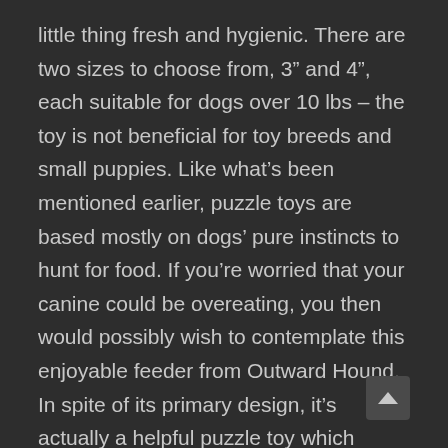little thing fresh and hygienic. There are two sizes to choose from, 3” and 4”, each suitable for dogs over 10 lbs – the toy is not beneficial for toy breeds and small puppies. Like what’s been mentioned earlier, puzzle toys are based mostly on dogs’ pure instincts to hunt for food. If you’re worried that your canine could be overeating, you then would possibly wish to contemplate this enjoyable feeder from Outward Hound. In spite of its primary design, it’s actually a helpful puzzle toy which presents your canine with some stimulation while slowing down his feeding times. Rather than a challenging puzzle that requires plenty of problem-solving abilities, the Snuffle mat fr W5 is definitely more of a scent game. Its sniffing mechanics